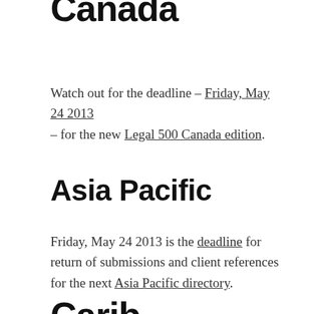Canada
Watch out for the deadline – Friday, May 24 2013 – for the new Legal 500 Canada edition.
Asia Pacific
Friday, May 24 2013 is the deadline for return of submissions and client references for the next Asia Pacific directory.